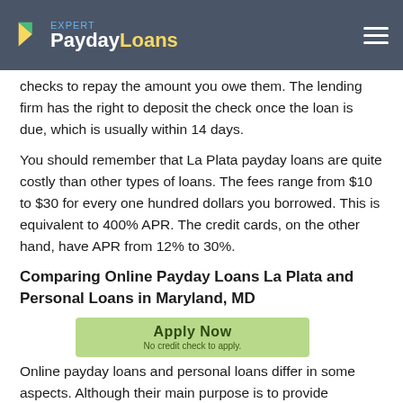Expert PaydayLoans
checks to repay the amount you owe them. The lending firm has the right to deposit the check once the loan is due, which is usually within 14 days.
You should remember that La Plata payday loans are quite costly than other types of loans. The fees range from $10 to $30 for every one hundred dollars you borrowed. This is equivalent to 400% APR. The credit cards, on the other hand, have APR from 12% to 30%.
Comparing Online Payday Loans La Plata and Personal Loans in Maryland, MD
Online payday loans and personal loans differ in some aspects. Although their main purpose is to provide financial help to those in need. A payday loan repayment term is short-term, usually seven to fourteen days and sometimes